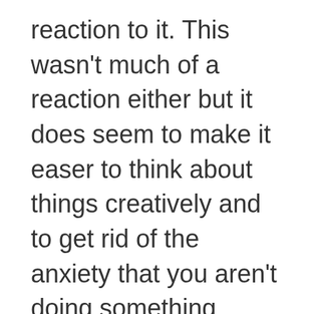reaction to it. This wasn't much of a reaction either but it does seem to make it easer to think about things creatively and to get rid of the anxiety that you aren't doing something “right” when doing art, writing, etc. The folks at the store were very professional and helpful. I really hope that PA gets recreational weed soon. The